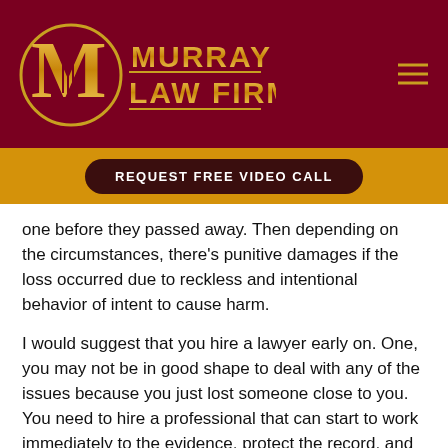[Figure (logo): Murray Law Firm logo with golden M and scales of justice emblem on dark red background, with hamburger menu icon]
[Figure (other): Gold button bar with 'REQUEST FREE VIDEO CALL' dark button]
one before they passed away. Then depending on the circumstances, there's punitive damages if the loss occurred due to reckless and intentional behavior of intent to cause harm.
I would suggest that you hire a lawyer early on. One, you may not be in good shape to deal with any of the issues because you just lost someone close to you. You need to hire a professional that can start to work immediately to the evidence, protect the record, and do all they can you prepare to get a fair settlement or verdict.